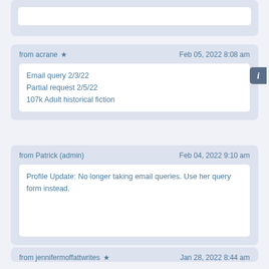from acrane ★   Feb 05, 2022 8:08 am
Email query 2/3/22
Partial request 2/5/22
107k Adult historical fiction
from Patrick (admin)   Feb 04, 2022 9:10 am
Profile Update: No longer taking email queries. Use her query form instead.
from jennifermoffattwrites ★   Jan 28, 2022 8:44 am